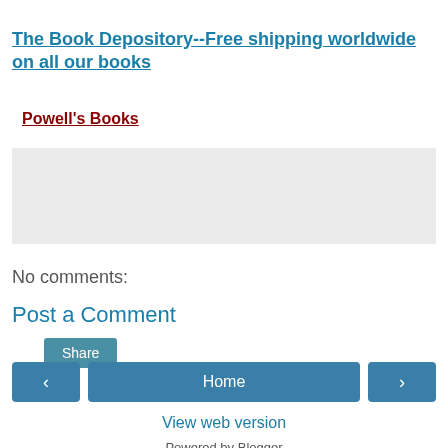The Book Depository--Free shipping worldwide on all our books
Powell's Books
[Figure (other): Share button area with light gray background]
No comments:
Post a Comment
‹  Home  ›  View web version  Powered by Blogger